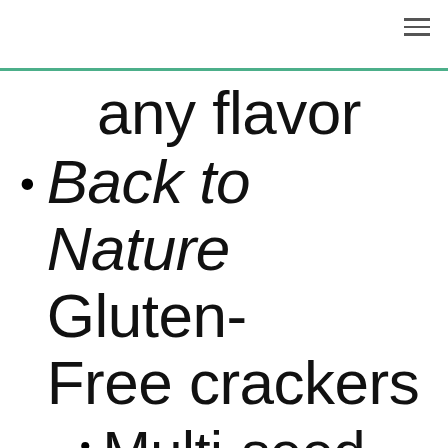any flavor
Back to Nature Gluten-Free crackers
Multi-seed
Sea Salt & Cracked Black...